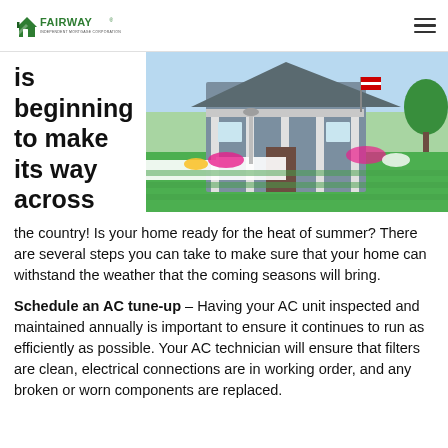Fairway Independent Mortgage Corporation
[Figure (photo): A house with a white picket fence, lush green lawn, colorful flower gardens, and a covered front porch, sunny summer day.]
is beginning to make its way across the country! Is your home ready for the heat of summer? There are several steps you can take to make sure that your home can withstand the weather that the coming seasons will bring.
Schedule an AC tune-up – Having your AC unit inspected and maintained annually is important to ensure it continues to run as efficiently as possible. Your AC technician will ensure that filters are clean, electrical connections are in working order, and any broken or worn components are replaced.